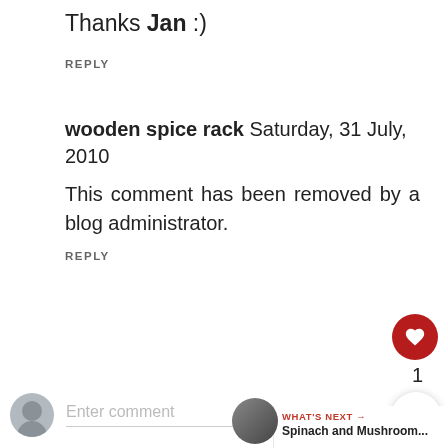Thanks Jan :)
REPLY
wooden spice rack Saturday, 31 July, 2010
This comment has been removed by a blog administrator.
REPLY
1
Enter comment
I love reading comments, so thank you for taking the time to leave one. Unfortunately, I'm bombarded with spam, so I've turned on comment